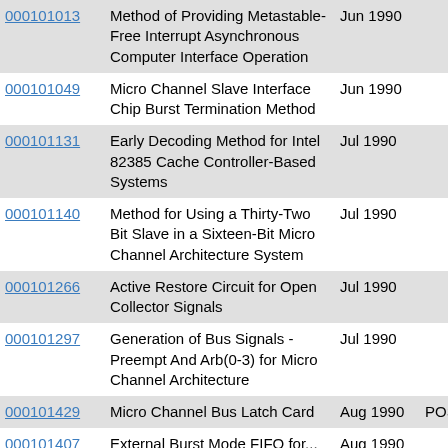| ID | Title | Date | Notes |
| --- | --- | --- | --- |
| 000101013 | Method of Providing Metastable-Free Interrupt Asynchronous Computer Interface Operation | Jun 1990 |  |
| 000101049 | Micro Channel Slave Interface Chip Burst Termination Method | Jun 1990 |  |
| 000101131 | Early Decoding Method for Intel 82385 Cache Controller-Based Systems | Jul 1990 |  |
| 000101140 | Method for Using a Thirty-Two Bit Slave in a Sixteen-Bit Micro Channel Architecture System | Jul 1990 |  |
| 000101266 | Active Restore Circuit for Open Collector Signals | Jul 1990 |  |
| 000101297 | Generation of Bus Signals - Preempt And Arb(0-3) for Micro Channel Architecture | Jul 1990 |  |
| 000101429 | Micro Channel Bus Latch Card | Aug 1990 | POST CP |
| 000101407 | External Burst Mode FIFO for... | Aug 1990 |  |